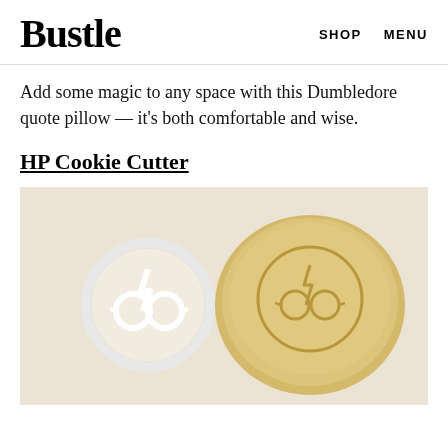Bustle   SHOP   MENU
Add some magic to any space with this Dumbledore quote pillow — it's both comfortable and wise.
HP Cookie Cutter
[Figure (photo): A white Harry Potter themed cookie cutter (circular with glasses and lightning bolt) next to a cookie dough circle stamped with the same glasses and lightning bolt design, on a floured surface.]